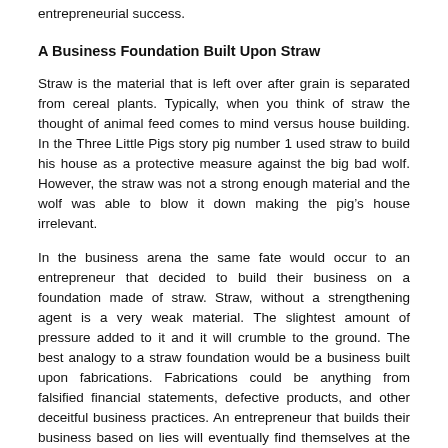entrepreneurial success.
A Business Foundation Built Upon Straw
Straw is the material that is left over after grain is separated from cereal plants. Typically, when you think of straw the thought of animal feed comes to mind versus house building. In the Three Little Pigs story pig number 1 used straw to build his house as a protective measure against the big bad wolf. However, the straw was not a strong enough material and the wolf was able to blow it down making the pig’s house irrelevant.
In the business arena the same fate would occur to an entrepreneur that decided to build their business on a foundation made of straw. Straw, without a strengthening agent is a very weak material. The slightest amount of pressure added to it and it will crumble to the ground. The best analogy to a straw foundation would be a business built upon fabrications. Fabrications could be anything from falsified financial statements, defective products, and other deceitful business practices. An entrepreneur that builds their business based on lies will eventually find themselves at the wrong end of the law; which could not only cost the entrepreneur their overall business but their reputation as well. Bottom line, building a business upon a straw foundation will more